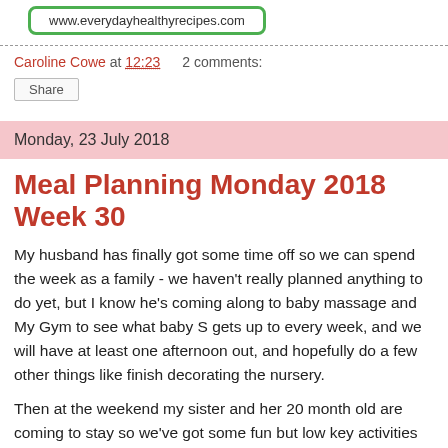[Figure (logo): Logo box with dashed green border and URL www.everydayhealthyrecipes.com]
Caroline Cowe at 12:23    2 comments:
Share
Monday, 23 July 2018
Meal Planning Monday 2018 Week 30
My husband has finally got some time off so we can spend the week as a family - we haven't really planned anything to do yet, but I know he's coming along to baby massage and My Gym to see what baby S gets up to every week, and we will have at least one afternoon out, and hopefully do a few other things like finish decorating the nursery.
Then at the weekend my sister and her 20 month old are coming to stay so we've got some fun but low key activities planned. I will also adjust the menu depending on what my niece prefers to eat